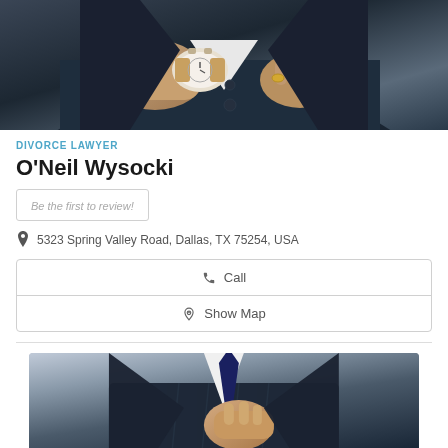[Figure (photo): Close-up photo of a man in a dark suit adjusting his watch cufflink]
DIVORCE LAWYER
O'Neil Wysocki
Be the first to review!
5323 Spring Valley Road, Dallas, TX 75254, USA
Call
Show Map
[Figure (photo): Photo of a man in a dark pinstripe suit adjusting his tie]